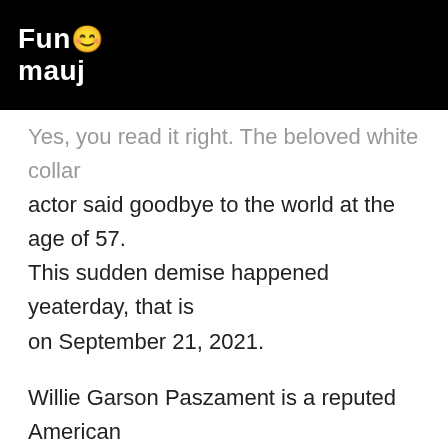Fun Mauj
Yes, you read it right. The beloved white collar actor said goodbye to the world at the age of 57. This sudden demise happened yeaterday, that is on September 21, 2021.
Willie Garson Paszament is a reputed American actor who has earned quite a reputation over years of work as an actor, after all not everybody gets a chance to be a part of over 75 movies and about 300 episodes in the lifetime of acting career. His works in movies and TV series like Sex And The City (1998 - 2004), White Collar ( 2009 - 2014), Hawaii Five 0 (2019 - 2020), Walk Of Shame